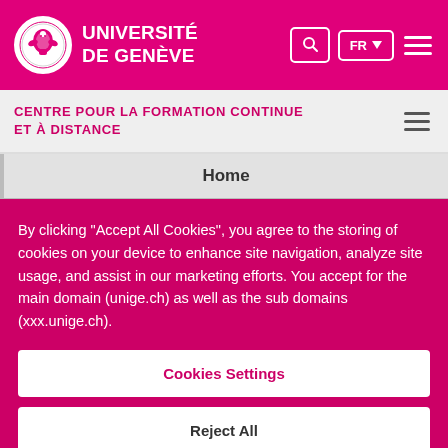UNIVERSITÉ DE GENÈVE
CENTRE POUR LA FORMATION CONTINUE ET À DISTANCE
Home
By clicking "Accept All Cookies", you agree to the storing of cookies on your device to enhance site navigation, analyze site usage, and assist in our marketing efforts. You accept for the main domain (unige.ch) as well as the sub domains (xxx.unige.ch).
Cookies Settings
Reject All